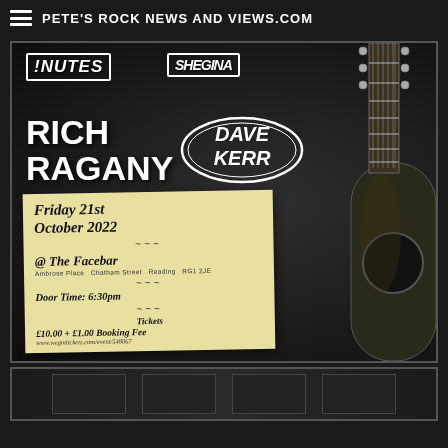PETE'S ROCK NEWS AND VIEWS.COM
[Figure (photo): Concert/gig promotional poster for an event featuring Rich Ragany and Dave Kerr, plus other acts (Nutes, Shegina). Event details: Friday 21st October 2022, @ The Facebar, Amrose Place, Chatham Street, Reading, RG1 2JE. Door Time: 6:30pm. Tickets £10.00 + £1.00 Booking Fee. www.wegottickets.com/event/548067. Background features a dark guitar body and neck.]
[Figure (photo): Partial view of another concert or promotional image at the bottom of the page, mostly cropped.]